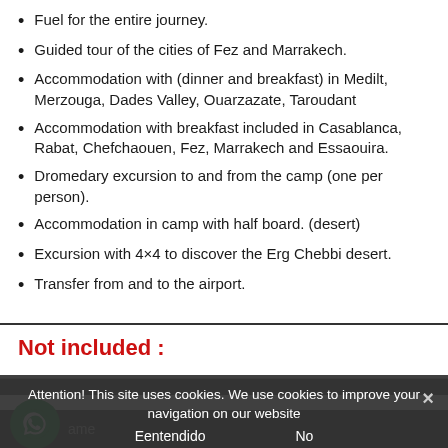Fuel for the entire journey.
Guided tour of the cities of Fez and Marrakech.
Accommodation with (dinner and breakfast) in Medilt, Merzouga, Dades Valley, Ouarzazate, Taroudant
Accommodation with breakfast included in Casablanca, Rabat, Chefchaouen, Fez, Marrakech and Essaouira.
Dromedary excursion to and from the camp (one per person).
Accommodation in camp with half board. (desert)
Excursion with 4×4 to discover the Erg Chebbi desert.
Transfer from and to the airport.
Not included :
Attention! This site uses cookies. We use cookies to improve your navigation on our website